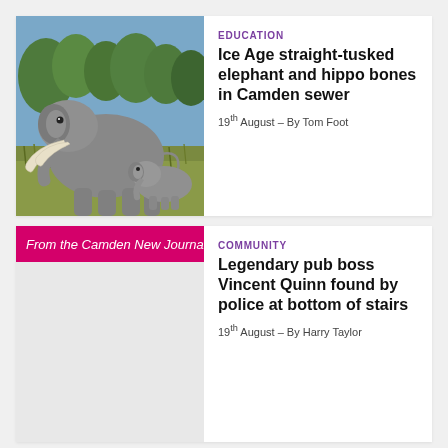[Figure (photo): Photograph of a straight-tusked elephant with a baby elephant in a grassy landscape with trees in the background.]
EDUCATION
Ice Age straight-tusked elephant and hippo bones in Camden sewer
19th August – By Tom Foot
[Figure (photo): Placeholder area with pink/magenta banner reading 'From the Camden New Journal']
From the Camden New Journal
COMMUNITY
Legendary pub boss Vincent Quinn found by police at bottom of stairs
19th August – By Harry Taylor